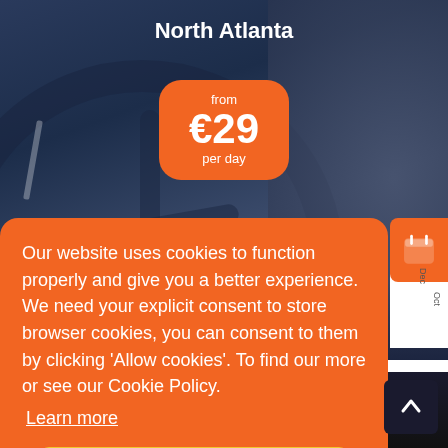[Figure (screenshot): Car rental website screenshot showing a dark blue car interior (steering wheel close-up) background image with 'North Atlanta' title and an orange price badge showing 'from €29 per day'. A large orange cookie consent popup overlays the bottom half of the screen with text about cookies and an 'Allow Cookies' yellow button. A back-to-top button is visible at bottom right.]
North Atlanta
from €29 per day
Our website uses cookies to function properly and give you a better experience. We need your explicit consent to store browser cookies, you can consent to them by clicking 'Allow cookies'. To find our more or see our Cookie Policy.
Learn more
Allow Cookies
per day